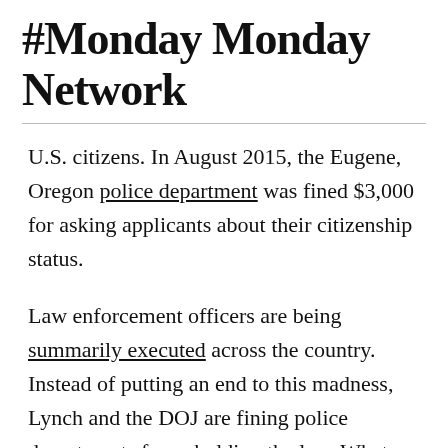#Monday Monday Network
U.S. citizens. In August 2015, the Eugene, Oregon police department was fined $3,000 for asking applicants about their citizenship status.
Law enforcement officers are being summarily executed across the country. Instead of putting an end to this madness, Lynch and the DOJ are fining police departments for upholding the law. What motive drives such insane actions?